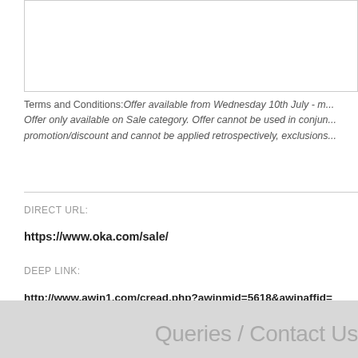[Figure (other): Empty white box with border, partial view of content area]
Terms and Conditions:Offer available from Wednesday 10th July - m... Offer only available on Sale category. Offer cannot be used in conjun... promotion/discount and cannot be applied retrospectively, exclusions...
DIRECT URL:
https://www.oka.com/sale/
DEEP LINK:
http://www.awin1.com/cread.php?awinmid=5618&awinaffid=
!!!id!!!&clickref=&p=http%3A%2F%2Fwww.oka.com%2Fsale%2F
Queries / Contact Us